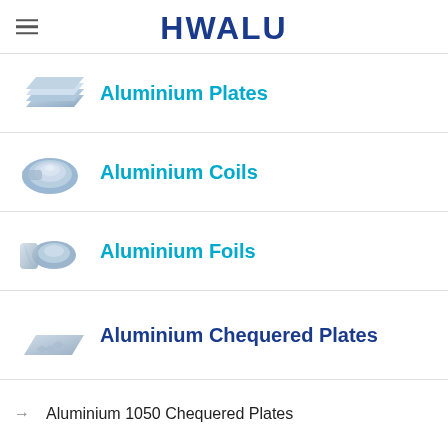HWALU
Aluminium Plates
Aluminium Coils
Aluminium Foils
Aluminium Chequered Plates
Aluminium 1050 Chequered Plates
Aluminium 1060 Chequered Plates
Aluminium 1070 Chequered Plates
Aluminium 1100 Chequered Plates